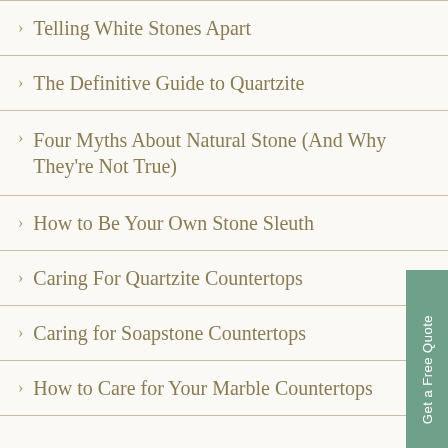Telling White Stones Apart
The Definitive Guide to Quartzite
Four Myths About Natural Stone (And Why They're Not True)
How to Be Your Own Stone Sleuth
Caring For Quartzite Countertops
Caring for Soapstone Countertops
How to Care for Your Marble Countertops